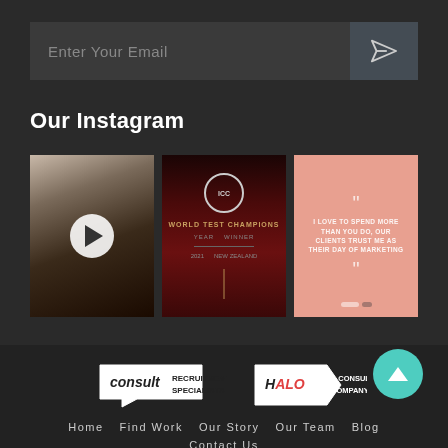Enter Your Email
Our Instagram
[Figure (photo): Instagram thumbnail 1: blurry video with play button overlay]
[Figure (photo): Instagram thumbnail 2: ICC World Test Champions cricket door image in dark red tones]
[Figure (photo): Instagram thumbnail 3: salmon/pink quote card with opening and closing quotation marks]
[Figure (logo): Consult Recruitment Specialists logo]
[Figure (logo): Halo A Consult Company logo with teal scroll-to-top button]
Home
Find Work
Our Story
Our Team
Blog
Contact Us